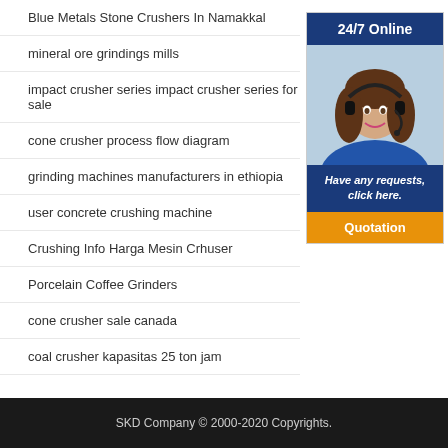Blue Metals Stone Crushers In Namakkal
mineral ore grindings mills
impact crusher series impact crusher series for sale
cone crusher process flow diagram
grinding machines manufacturers in ethiopia
user concrete crushing machine
Crushing Info Harga Mesin Crhuser
Porcelain Coffee Grinders
cone crusher sale canada
coal crusher kapasitas 25 ton jam
[Figure (infographic): 24/7 Online customer service sidebar with a photo of a woman wearing a headset, text 'Have any requests, click here.' and a Quotation button]
SKD Company © 2000-2020 Copyrights.